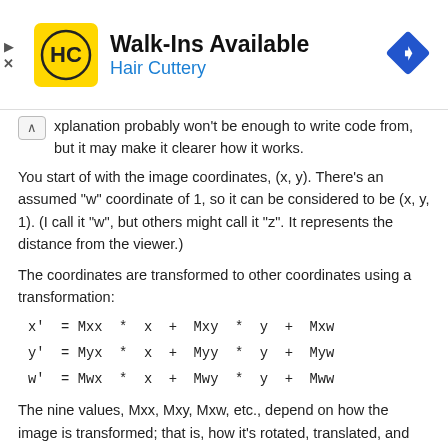[Figure (other): Hair Cuttery advertisement banner with logo, Walk-Ins Available text, and navigation arrow icon]
xplanation probably won't be enough to write code from, but it may make it clearer how it works.
You start of with the image coordinates, (x, y). There's an assumed "w" coordinate of 1, so it can be considered to be (x, y, 1). (I call it "w", but others might call it "z". It represents the distance from the viewer.)
The coordinates are transformed to other coordinates using a transformation:
The nine values, Mxx, Mxy, Mxw, etc., depend on how the image is transformed; that is, how it's rotated, translated, and scaled.